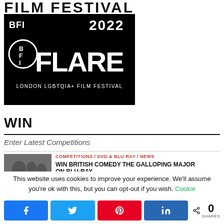FILM FESTIVAL
[Figure (logo): BFI FLARE 2022 - London LGBTQIA+ Film Festival logo, white text on black background]
WIN
Enter Latest Competitions
[Figure (photo): Black and white photo showing people in a group scene]
COMPETITIONS / DVD & BLU-RAY / NEWS
WIN BRITISH COMEDY THE GALLOPING MAJOR ON BLU-RAY
This website uses cookies to improve your experience. We'll assume you're ok with this, but you can opt-out if you wish. Cookie
0 SHARES